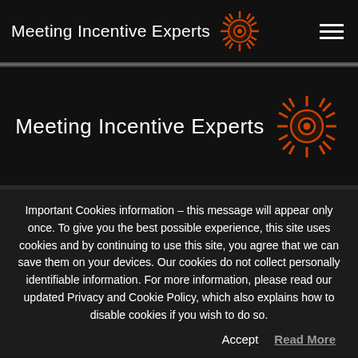Meeting Incentive Experts
[Figure (logo): Meeting Incentive Experts logo with orange sun/starburst icon and hamburger menu icon in top navigation bar]
[Figure (logo): Meeting Incentive Experts logo with orange sun/starburst icon centered in dark hero section]
Important Cookies information – this message will appear only once. To give you the best possible experience, this site uses cookies and by continuing to use this site, you agree that we can save them on your devices. Our cookies do not collect personally identifiable information. For more information, please read our updated Privacy and Cookie Policy, which also explains how to disable cookies if you wish to do so.
Accept
Read More